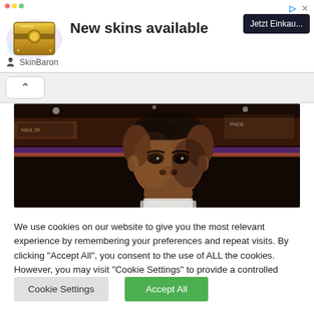[Figure (screenshot): Advertisement banner for SkinBaron showing a golden loot chest with text 'New skins available' and a dark 'Jetzt Einkau...' button. Has three colored dots top-left, play and close icons top-right, and SkinBaron brand bottom-left.]
[Figure (screenshot): Browser tab bar area showing a white pill-shaped tab with an upward caret/chevron arrow.]
[Figure (photo): Screenshot from NBA 2K video game showing a basketball player's face in close-up with arena/stadium background with purple and orange lighting effects.]
We use cookies on our website to give you the most relevant experience by remembering your preferences and repeat visits. By clicking "Accept All", you consent to the use of ALL the cookies. However, you may visit "Cookie Settings" to provide a controlled consent.
Cookie Settings
Accept All